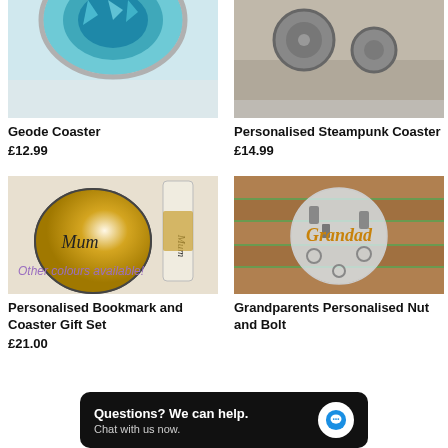[Figure (photo): Geode coaster product image, partially cropped at top]
Geode Coaster
£12.99
[Figure (photo): Personalised Steampunk Coaster product image, partially cropped at top]
Personalised Steampunk Coaster
£14.99
[Figure (photo): Geode coaster and bookmark gift set with gold glitter and Mum text, with overlay text 'Other colours available!']
Personalised Bookmark and Coaster Gift Set
£21.00
[Figure (photo): Round clear acrylic Grandad coaster with nuts and bolts inside, on wooden surface with grass background]
Grandparents Personalised Nut and Bolt
Questions? We can help. Chat with us now.